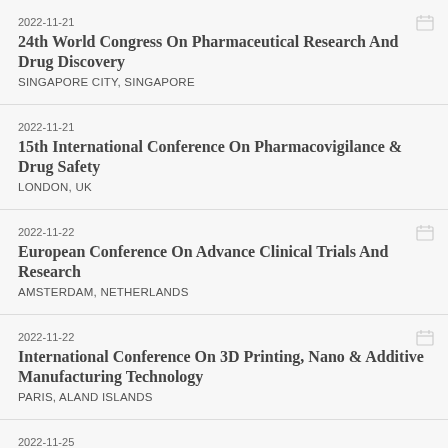2022-11-21
24th World Congress On Pharmaceutical Research And Drug Discovery
SINGAPORE CITY, SINGAPORE
2022-11-21
15th International Conference On Pharmacovigilance & Drug Safety
LONDON, UK
2022-11-22
European Conference On Advance Clinical Trials And Research
AMSTERDAM, NETHERLANDS
2022-11-22
International Conference On 3D Printing, Nano & Additive Manufacturing Technology
PARIS, ALAND ISLANDS
2022-11-25